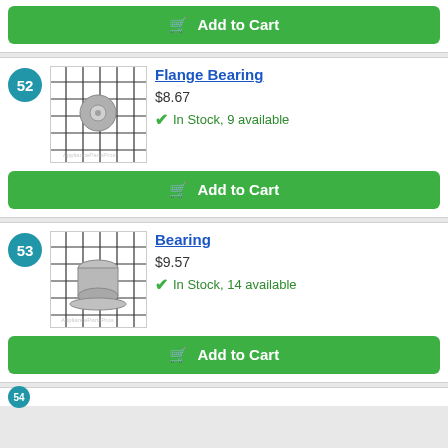[Figure (other): Green 'Add to Cart' button with shopping cart icon at the top of the page]
52
[Figure (photo): Flange Bearing part on a grid background]
Flange Bearing
$8.67
In Stock, 9 available
[Figure (other): Green 'Add to Cart' button with shopping cart icon]
53
[Figure (photo): Bearing part on a grid background]
Bearing
$9.57
In Stock, 14 available
[Figure (other): Green 'Add to Cart' button with shopping cart icon]